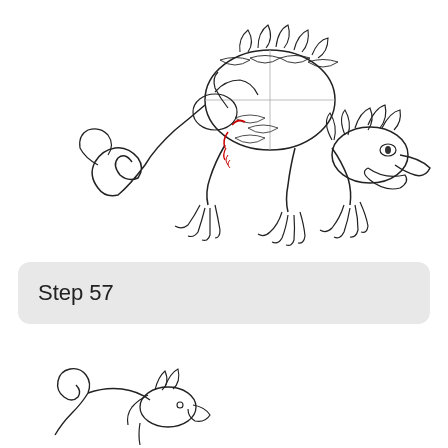[Figure (illustration): Step-by-step drawing tutorial showing a detailed dragon illustration in progress. The dragon is crouching/prowling with visible claws, scales, spikes, and a head turned to the right. Red lines highlight new elements being added in this step — specifically lines on the chest/belly area of the dragon. The drawing is in black ink with red accent lines showing the current step's additions.]
Step 57
[Figure (illustration): Partial dragon drawing at the bottom of the page showing the beginning stages of a new dragon sketch — only the tail and partial body/head are visible, drawn in black ink outline style.]